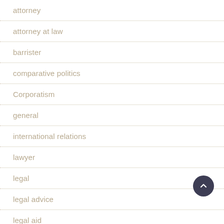attorney
attorney at law
barrister
comparative politics
Corporatism
general
international relations
lawyer
legal
legal advice
legal aid